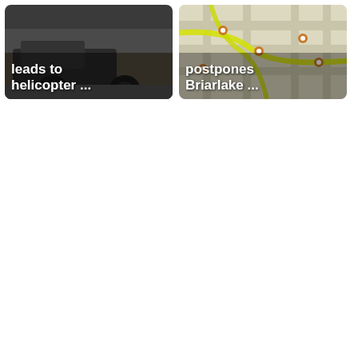[Figure (photo): News card showing a truck/vehicle close-up photo with white bold text overlay reading 'leads to helicopter ...']
[Figure (map): News card showing a street map with location pins and yellow highlighted roads, with white bold text overlay reading 'postpones Briarlake ...']